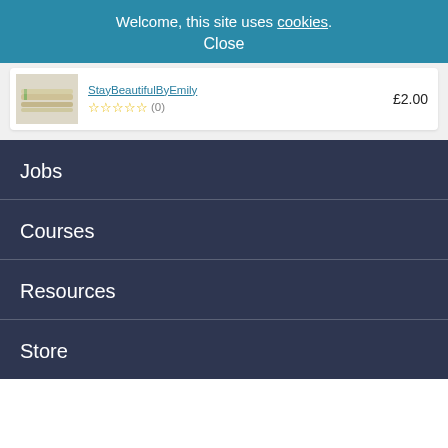Welcome, this site uses cookies. Close
StayBeautifulByEmily ☆☆☆☆☆ (0)  £2.00
Jobs
Courses
Resources
Store